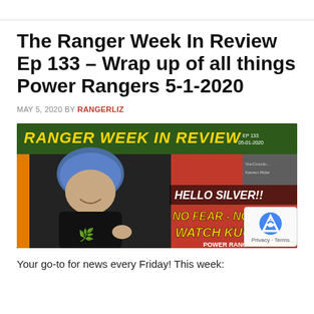The Ranger Week In Review Ep 133 – Wrap up of all things Power Rangers 5-1-2020
MAY 5, 2020 BY RANGERLIZ
[Figure (photo): Thumbnail image for 'Ranger Week In Review' episode 133 dated 05-01-2020. Shows a woman with blue hair smiling in a black t-shirt, with overlaid text: 'RANGER WEEK IN REVIEW', 'HELLO SILVER!!', 'NO FEAR - NO PAIN', 'WATCH KUUGA', 'POWER RANGERS'. Green and orange background panels with Power Rangers imagery.]
Your go-to for news every Friday! This week: